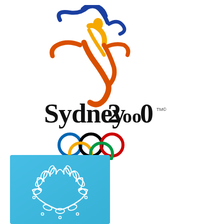[Figure (logo): Sydney 2000 Olympic Games official logo: stylized athlete figure in blue, gold, and orange-red above the handwritten text 'Sydney 2000' with TM copyright symbol, and five Olympic rings (blue, black, red, yellow, green) below.]
[Figure (logo): Blue rectangular badge/emblem with a white hand-drawn olive wreath design, associated with the Sydney 2000 Olympics.]